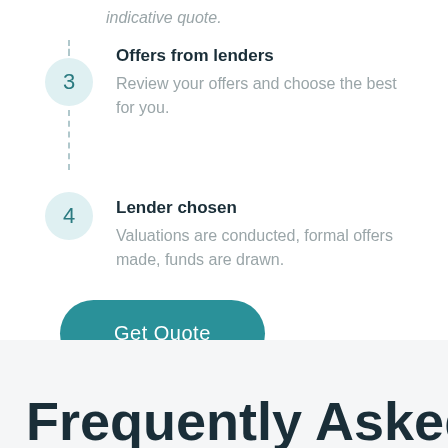indicative quote.
3 - Offers from lenders: Review your offers and choose the best for you.
4 - Lender chosen: Valuations are conducted, formal offers made, funds are drawn.
Get Quote
Frequently Asked